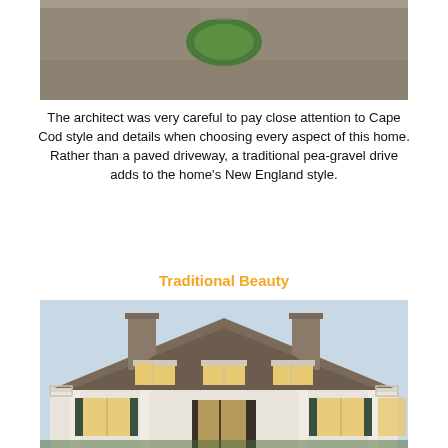[Figure (photo): Aerial view of a circular green lawn medallion surrounded by pea-gravel driveway]
The architect was very careful to pay close attention to Cape Cod style and details when choosing every aspect of this home. Rather than a paved driveway, a traditional pea-gravel drive adds to the home's New England style.
Traditional Beauty
[Figure (photo): Cape Cod style home exterior at dusk with cedar shake roof, three dormers with lit windows, white columns, dark shutters, and two chimneys]